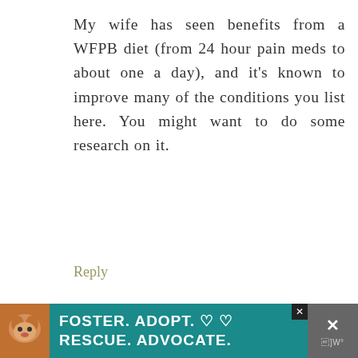My wife has seen benefits from a WFPB diet (from 24 hour pain meds to about one a day), and it's known to improve many of the conditions you list here. You might want to do some research on it.
Reply
Lori says
[Figure (photo): Advertisement banner: dog photo on left, teal background with white bold text 'FOSTER. ADOPT. ♡♡ RESCUE. ADVOCATE.' and close button on right]